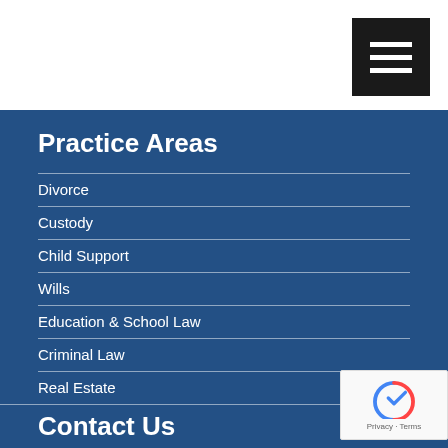[Figure (other): Hamburger menu button icon - three white horizontal lines on black background, top right corner]
Practice Areas
Divorce
Custody
Child Support
Wills
Education & School Law
Criminal Law
Real Estate
Contact Us